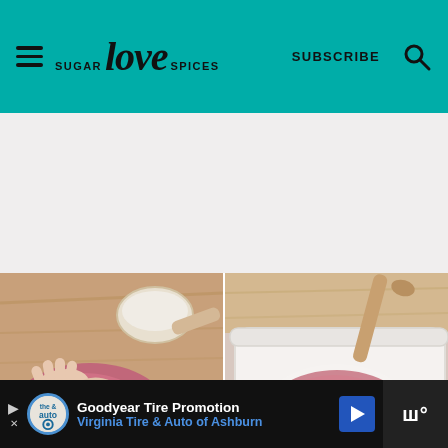SUGAR love SPICES | SUBSCRIBE
[Figure (photo): Two side-by-side food preparation photos: left shows hands kneading red/pink dough on a wooden board with a bowl in background; right shows dough dusted with flour in a white pan/pot]
[Figure (photo): Advertisement banner: Goodyear Tire Promotion - Virginia Tire & Auto of Ashburn]